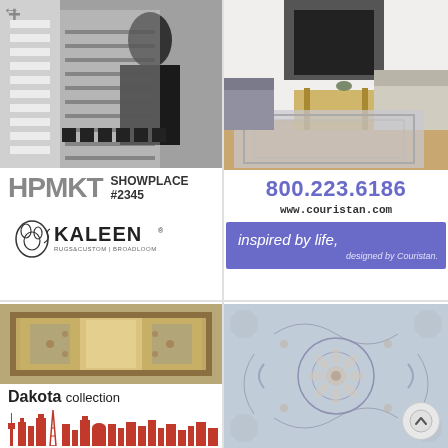[Figure (photo): Kaleen rugs advertisement showing woman with rugs, HPMKT Showplace #2345 text and Kaleen Rugs Custom logo]
[Figure (photo): Couristan advertisement showing rug in room setting, phone number 800.223.6186, www.couristan.com, and 'inspired by life, designed by Couristan' banner]
[Figure (photo): Dakota collection advertisement showing decorative rug close-up and cityscape skyline with 'walk on fashion' text]
[Figure (photo): Close-up of blue/grey floral patterned rug]